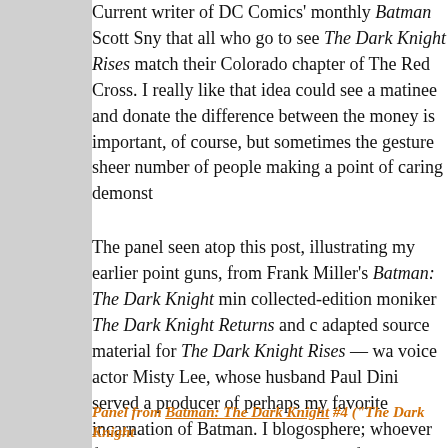Current writer of DC Comics' monthly Batman Scott Sny that all who go to see The Dark Knight Rises match their Colorado chapter of The Red Cross. I really like that idea could see a matinee and donate the difference between the money is important, of course, but sometimes the gesture sheer number of people making a point of caring demonst
The panel seen atop this post, illustrating my earlier point guns, from Frank Miller's Batman: The Dark Knight min collected-edition moniker The Dark Knight Returns and c adapted source material for The Dark Knight Rises — wa voice actor Misty Lee, whose husband Paul Dini served a producer of perhaps my favorite incarnation of Batman. I blogosphere; whoever first excerpted it as a response to e of it or both gets a totally unironic gold star.
Since I began writing this last night, The Dark Knight Ris released a statement.
Panel from Batman: The Dark Knight #4 ("The Dark Knight